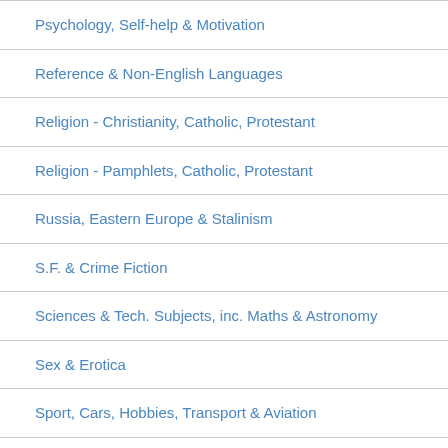Psychology, Self-help & Motivation
Reference & Non-English Languages
Religion - Christianity, Catholic, Protestant
Religion - Pamphlets, Catholic, Protestant
Russia, Eastern Europe & Stalinism
S.F. & Crime Fiction
Sciences & Tech. Subjects, inc. Maths & Astronomy
Sex & Erotica
Sport, Cars, Hobbies, Transport & Aviation